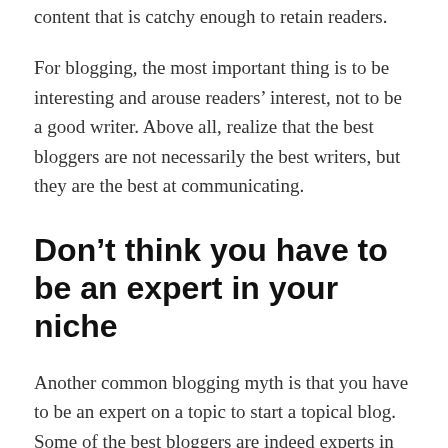content that is catchy enough to retain readers.
For blogging, the most important thing is to be interesting and arouse readers’ interest, not to be a good writer. Above all, realize that the best bloggers are not necessarily the best writers, but they are the best at communicating.
Don’t think you have to be an expert in your niche
Another common blogging myth is that you have to be an expert on a topic to start a topical blog. Some of the best bloggers are indeed experts in their field, but many others are not. And as long as you can provide valuable